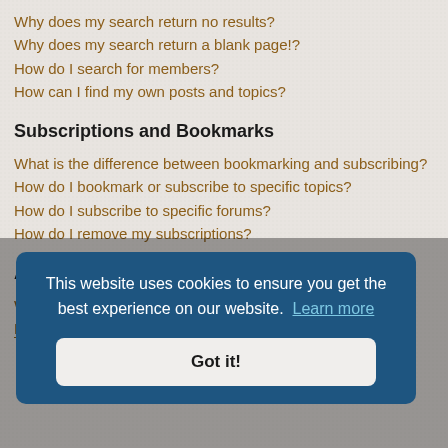Why does my search return no results?
Why does my search return a blank page!?
How do I search for members?
How can I find my own posts and topics?
Subscriptions and Bookmarks
What is the difference between bookmarking and subscribing?
How do I bookmark or subscribe to specific topics?
How do I subscribe to specific forums?
How do I remove my subscriptions?
Attachments
What attachments are allowed on this board?
How do I find all my attachments?
This website uses cookies to ensure you get the best experience on our website.  Learn more
Got it!